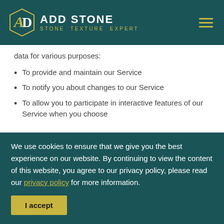ADD STONE — STONE TEXTURE EXPERT
data for various purposes:
To provide and maintain our Service
To notify you about changes to our Service
To allow you to participate in interactive features of our Service when you choose
We use cookies to ensure that we give you the best experience on our website. By continuing to view the content of this website, you agree to our privacy policy, please read our privacy policy for more information.
I accept